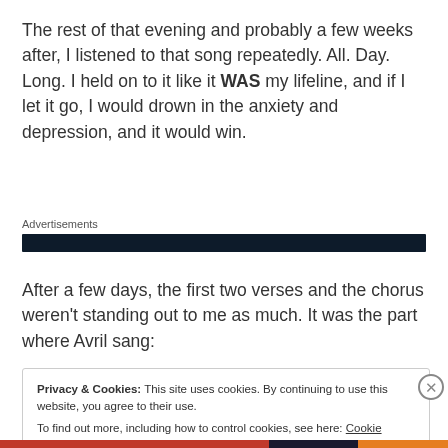The rest of that evening and probably a few weeks after, I listened to that song repeatedly. All. Day. Long. I held on to it like it WAS my lifeline, and if I let it go, I would drown in the anxiety and depression, and it would win.
Advertisements
After a few days, the first two verses and the chorus weren't standing out to me as much. It was the part where Avril sang:
Privacy & Cookies: This site uses cookies. By continuing to use this website, you agree to their use.
To find out more, including how to control cookies, see here: Cookie Policy
Close and accept